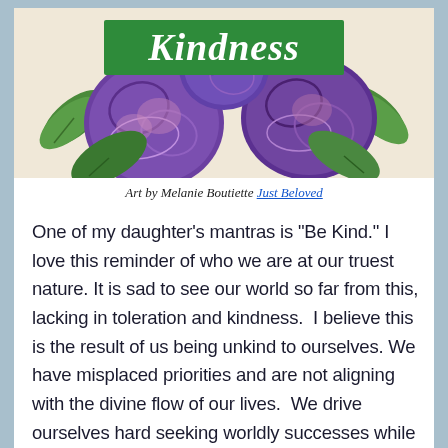[Figure (illustration): Colorful illustration of purple flowers and green leaves with a green banner reading 'Kindness' in white script font]
Art by Melanie Boutiette Just Beloved
One of my daughter's mantras is “Be Kind.” I love this reminder of who we are at our truest nature. It is sad to see our world so far from this, lacking in toleration and kindness.  I believe this is the result of us being unkind to ourselves. We have misplaced priorities and are not aligning with the divine flow of our lives.  We drive ourselves hard seeking worldly successes while our souls whither away.  We are unaware if we are tired, hungry, or in physical or emotional pain, and we leave little